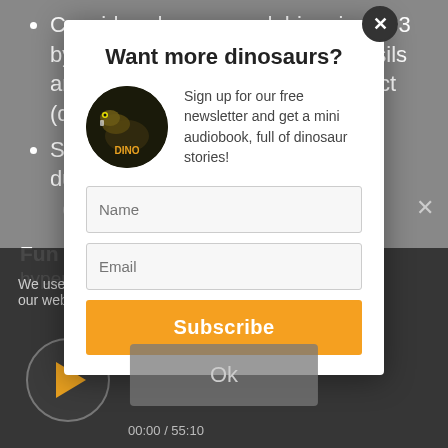Considered a nomen dubium in 2003 by Oliver Rauhut because the fossils are too fragmentary and not distinct (diagnostic)
Said that abelisauroids in France during the ... fossils
Fun Fa... hyper...
[Figure (screenshot): Modal popup dialog over a grey webpage background. The modal has a white background, title 'Want more dinosaurs?', a circular dinosaur book image, descriptive text 'Sign up for our free newsletter and get a mini audiobook, full of dinosaur stories!', Name and Email input fields, and an orange Subscribe button. Below the modal is video player bar with play button and timecode 00:00 / 55:10, and a grey Ok button.]